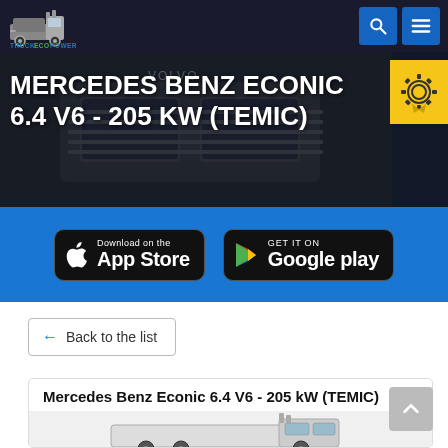TRUCKECO POWER
MERCEDES BENZ ECONIC 6.4 V6 - 205 KW (TEMIC)
[Figure (logo): App Store and Google Play download buttons on blue background]
← Back to the list
Mercedes Benz Econic 6.4 V6 - 205 kW (TEMIC)
[Figure (photo): Mercedes Benz Econic truck photo]